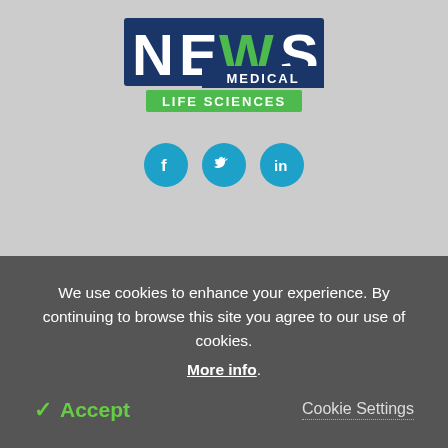[Figure (logo): News-Medical Life Sciences logo with social media icons (Facebook, Twitter, LinkedIn)]
News-Medical.Net provides this medical information service in accordance with these terms and conditions. Please note that medical information found on this website is designed to support, not to replace the relationship between patient and
We use cookies to enhance your experience. By continuing to browse this site you agree to our use of cookies. More info.
✓ Accept
Cookie Settings